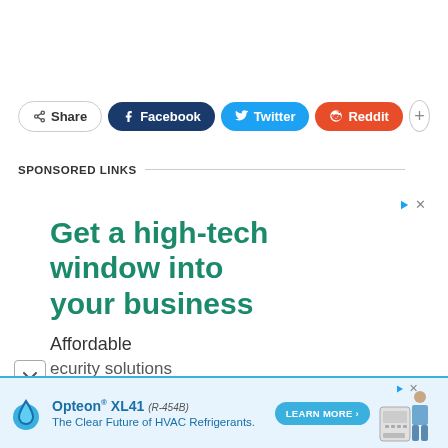[Figure (screenshot): Social share button bar with Share, Facebook, Twitter, Reddit, and + buttons]
SPONSORED LINKS
[Figure (screenshot): Advertisement: Get a high-tech window into your business. Affordable security solutions.]
[Figure (screenshot): Bottom banner ad: Opteon XL41 (R-454B) The Clear Future of HVAC Refrigerants. Learn More button.]